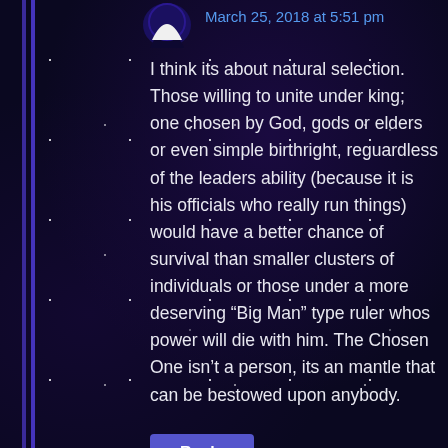March 25, 2018 at 5:51 pm
I think its about natural selection. Those willing to unite under king; one chosen by God, gods or elders or even simple birthright, reguardless of the leaders ability (because it is his officials who really run things) would have a better chance of survival than smaller clusters of individuals or those under a more deserving “Big Man” type ruler whos power will die with him. The Chosen One isn’t a person, its an mantle that can be bestowed upon anybody.
Reply